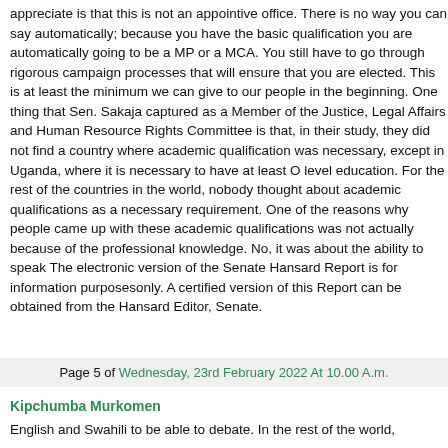appreciate is that this is not an appointive office. There is no way you can say automatically; because you have the basic qualification you are automatically going to be a MP or a MCA. You still have to go through rigorous campaign processes that will ensure that you are elected. This is at least the minimum we can give to our people in the beginning. One thing that Sen. Sakaja captured as a Member of the Justice, Legal Affairs and Human Resource Rights Committee is that, in their study, they did not find a country where academic qualification was necessary, except in Uganda, where it is necessary to have at least O level education. For the rest of the countries in the world, nobody thought about academic qualifications as a necessary requirement. One of the reasons why people came up with these academic qualifications was not actually because of the professional knowledge. No, it was about the ability to speak The electronic version of the Senate Hansard Report is for information purposesonly. A certified version of this Report can be obtained from the Hansard Editor, Senate.
Page 5 of Wednesday, 23rd February 2022 At 10.00 A.m.
Kipchumba Murkomen
English and Swahili to be able to debate. In the rest of the world,